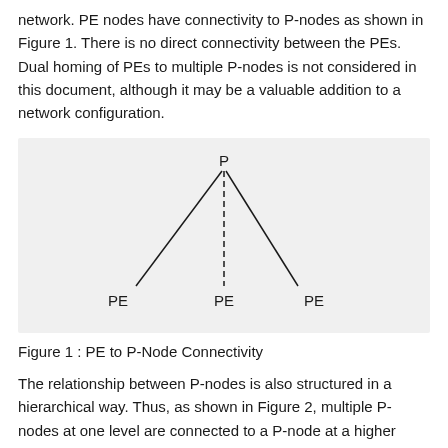network. PE nodes have connectivity to P-nodes as shown in Figure 1. There is no direct connectivity between the PEs. Dual homing of PEs to multiple P-nodes is not considered in this document, although it may be a valuable addition to a network configuration.
[Figure (network-graph): A tree diagram showing a P node at the top connected by three lines (left solid, middle dashed, right solid) down to three PE nodes labeled PE (left), PE (middle), PE (right).]
Figure 1 : PE to P-Node Connectivity
The relationship between P-nodes is also structured in a hierarchical way. Thus, as shown in Figure 2, multiple P-nodes at one level are connected to a P-node at a higher level. We number the levels such that level 1 is the top level (top in our figure, and nearest to the core of the network)